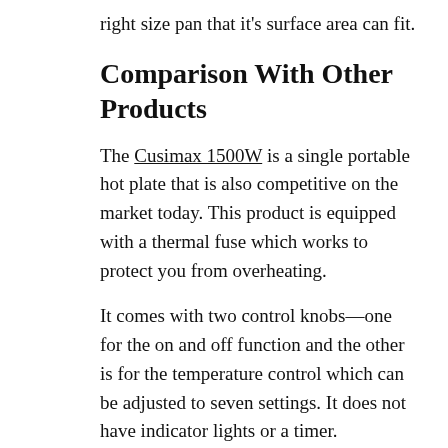right size pan that it's surface area can fit.
Comparison With Other Products
The Cusimax 1500W is a single portable hot plate that is also competitive on the market today. This product is equipped with a thermal fuse which works to protect you from overheating.
It comes with two control knobs—one for the on and off function and the other is for the temperature control which can be adjusted to seven settings. It does not have indicator lights or a timer.
Another electric version is the IMUSA USA GAU-